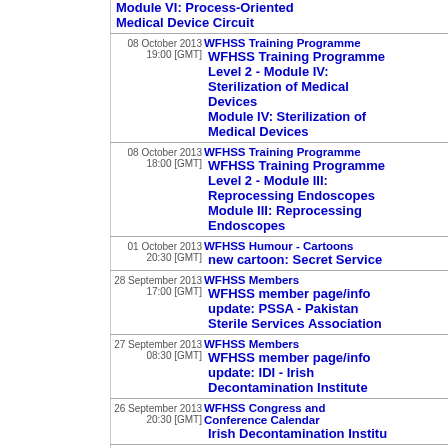Module VI: Process-Oriented Medical Device Circuit
08 October 2013 | 19:00 [GMT] | WFHSS Training Programme | WFHSS Training Programme Level 2 - Module IV: Sterilization of Medical Devices | Module IV: Sterilization of Medical Devices
08 October 2013 | 18:00 [GMT] | WFHSS Training Programme | WFHSS Training Programme Level 2 - Module III: Reprocessing Endoscopes | Module III: Reprocessing Endoscopes
01 October 2013 | 20:30 [GMT] | WFHSS Humour - Cartoons | new cartoon: Secret Service
28 September 2013 | 17:00 [GMT] | WFHSS Members | WFHSS member page/info update: PSSA - Pakistan Sterile Services Association
27 September 2013 | 08:30 [GMT] | WFHSS Members | WFHSS member page/info update: IDI - Irish Decontamination Institute
26 September 2013 | 20:30 [GMT] | WFHSS Congress and Conference Calendar | Irish Decontamination Institute